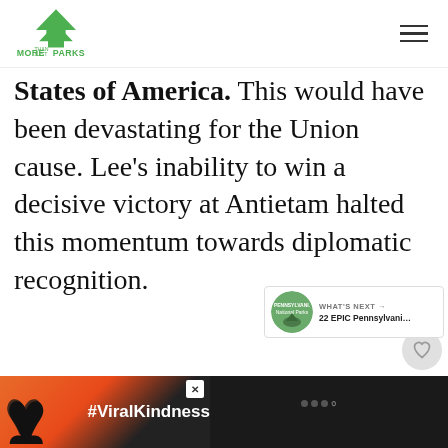More Than Just Parks
States of America. This would have been devastating for the Union cause. Lee's inability to win a decisive victory at Antietam halted this momentum towards diplomatic recognition.
[Figure (infographic): WHAT'S NEXT arrow with thumbnail image of Pennsylvania National Parks and text '22 EPIC Pennsylvani...']
[Figure (infographic): Bottom advertisement bar with heart hands silhouette image and #ViralKindness text on dark background]